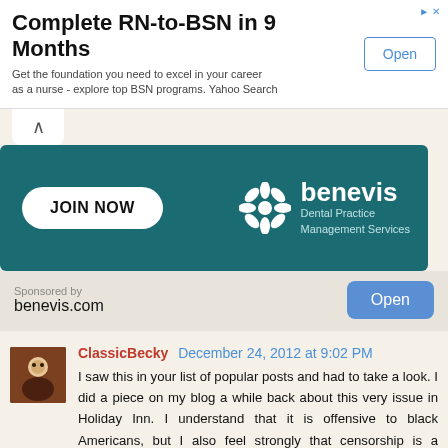[Figure (screenshot): Advertisement banner: 'Complete RN-to-BSN in 9 Months' with Open button]
[Figure (screenshot): Benevis Dental Practice Management Services advertisement with JOIN NOW button]
Sponsored by
benevis.com
ClassicBecky  December 24, 2012 at 9:02 PM
I saw this in your list of popular posts and had to take a look. I did a piece on my blog a while back about this very issue in Holiday Inn. I understand that it is offensive to black Americans, but I also feel strongly that censorship is a dangerous method to try to make everything match up with modern thinking. My God, that could apply to just about anything! Anyway, I thought it was interesting that...